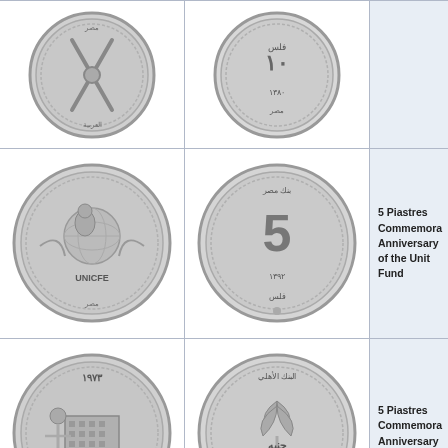[Figure (photo): Obverse of Egyptian coin showing crossed swords/anchor with Arabic text]
[Figure (photo): Reverse of Egyptian coin with Arabic text and date]
[Figure (photo): Obverse of 5 Piastres UNICEF coin showing mother and child with UNICEF text]
[Figure (photo): Reverse of 5 Piastres UNICEF coin showing denomination 5 and Arabic text 1972]
5 Piastres Commemorating the Anniversary of the United Nations Fund
[Figure (photo): Obverse of 5 Piastres 1973 coin showing building with figure, dated 1973]
[Figure (photo): Reverse of 5 Piastres 1973 National Bank coin with Arabic text and denomination 5]
5 Piastres Commemorating the Anniversary of the National
[Figure (photo): Partial obverse of Egyptian coin showing 1973 date]
[Figure (photo): Partial reverse of Egyptian coin with Arabic text]